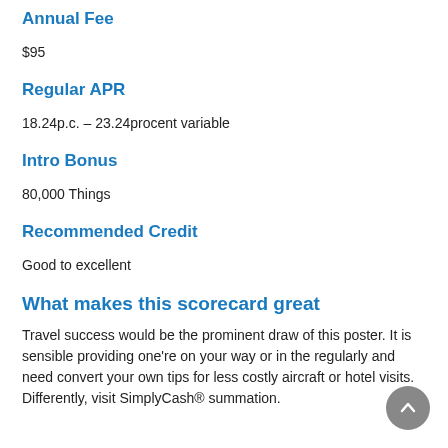Annual Fee
$95
Regular APR
18.24p.c. – 23.24procent variable
Intro Bonus
80,000 Things
Recommended Credit
Good to excellent
What makes this scorecard great
Travel success would be the prominent draw of this poster. It is sensible providing one're on your way or in the regularly and need convert your own tips for less costly aircraft or hotel visits. Differently, visit SimplyCash® summation.